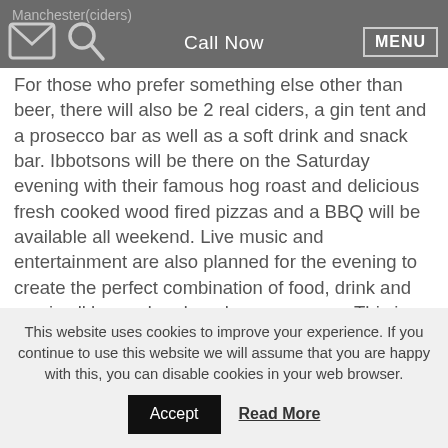Manchester(ciders) | Call Now | MENU
For those who prefer something else other than beer, there will also be 2 real ciders, a gin tent and a prosecco bar as well as a soft drink and snack bar. Ibbotsons will be there on the Saturday evening with their famous hog roast and delicious fresh cooked wood fired pizzas and a BBQ will be available all weekend. Live music and entertainment are also planned for the evening to create the perfect combination of food, drink and music all housed under a large marquee.  This is a fantastic event for the whole family to enjoy.
Along with other local sponsors, AM Skip Hire are proud to be supporting this local village event in 2018. Being hosted for the second year, the festival was previously a
This website uses cookies to improve your experience. If you continue to use this website we will assume that you are happy with this, you can disable cookies in your web browser.
Accept | Read More